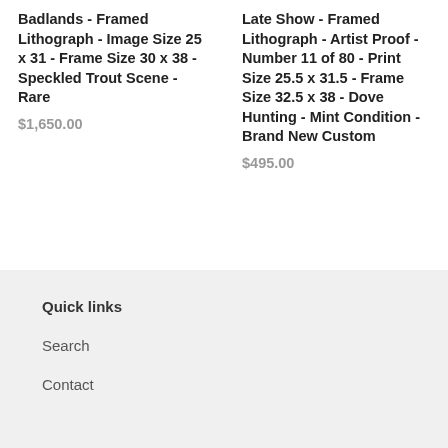Badlands - Framed Lithograph - Image Size 25 x 31 - Frame Size 30 x 38 - Speckled Trout Scene - Rare
$1,650.00
Late Show - Framed Lithograph - Artist Proof - Number 11 of 80 - Print Size 25.5 x 31.5 - Frame Size 32.5 x 38 - Dove Hunting - Mint Condition - Brand New Custom
$495.00
Quick links
Search
Contact